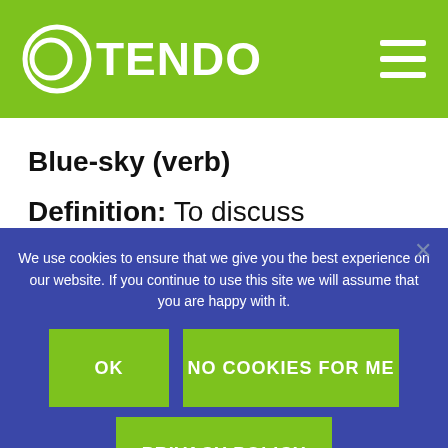OTENDO
Blue-sky (verb)
Definition: To discuss something without
We use cookies to ensure that we give you the best experience on our website. If you continue to use this site we will assume that you are happy with it.
OK
NO COOKIES FOR ME
PRIVACY POLICY